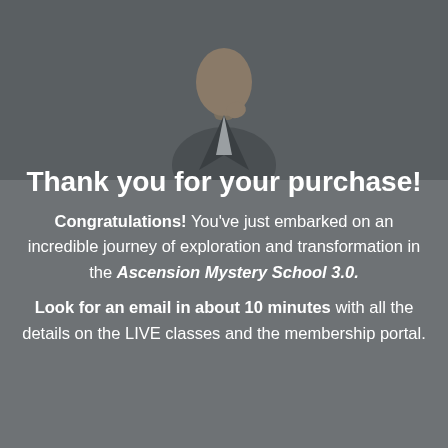[Figure (photo): A man in a dark suit photographed from the chest up against a gray background, fading into the page background]
Thank you for your purchase!
Congratulations! You've just embarked on an incredible journey of exploration and transformation in the Ascension Mystery School 3.0.
Look for an email in about 10 minutes with all the details on the LIVE classes and the membership portal.